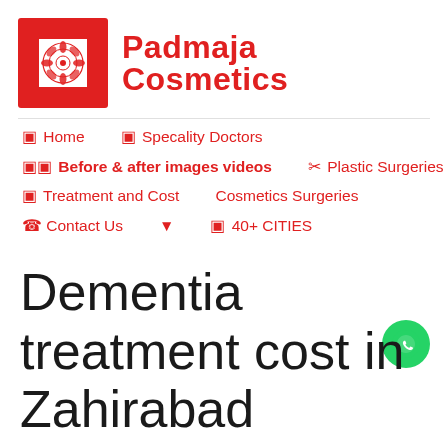[Figure (logo): Padmaja Cosmetics logo: red framed square with mandala/flower design, next to bold red text reading 'Padmaja Cosmetics']
Padmaja Cosmetics
Home   Specality Doctors
Before & after images videos   Plastic Surgeries
Treatment and Cost   Cosmetics Surgeries
Contact Us   40+ CITIES
Dementia treatment cost in Zahirabad